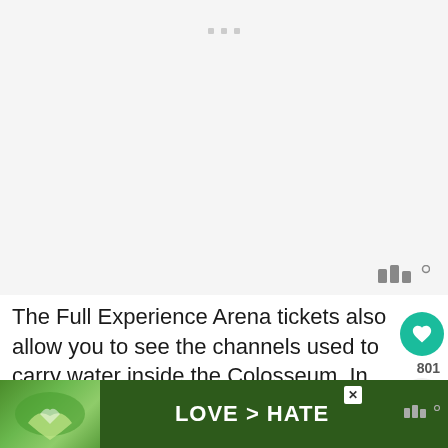[Figure (photo): Blank/placeholder image area with light gray background, three small gray square dots at top center, and a weatherstack-style logo at bottom right]
The Full Experience Arena tickets also allow you to see the channels used to carry water inside the Colosseum. In fact, the arena floor would be flooded to recreate the perfect environment for
[Figure (other): Advertisement banner: LOVE > HATE text on dark green background with hands forming heart shape, close button, and weatherstack logo]